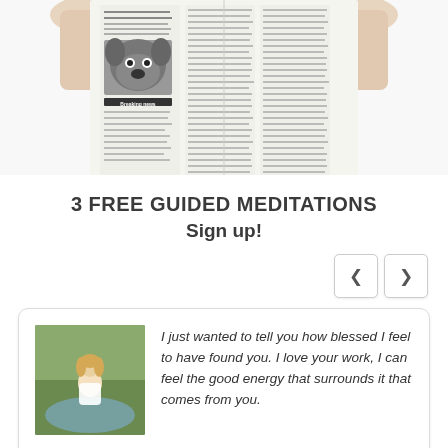[Figure (photo): A dog (French bulldog) holding a newspaper, shown from waist up. The hands/paws hold an open newspaper with visible columns and a 'Breaking news' section with a dog photo inside.]
3 FREE GUIDED MEDITATIONS
Sign up!
[Figure (illustration): Navigation buttons: left arrow and right arrow in rounded rectangle boxes]
I just wanted to tell you how blessed I feel to have found you. I love your work, I can feel the good energy that surrounds it that comes from you. Thank you for shining out in the crowd for those of us who are trying to help also. Love your work! — Guided meditation customer
Good Energy